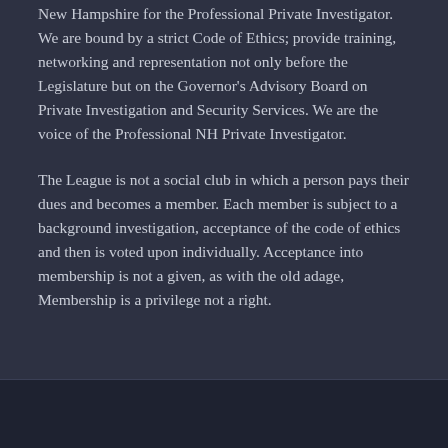New Hampshire for the Professional Private Investigator. We are bound by a strict Code of Ethics; provide training, networking and representation not only before the Legislature but on the Governor's Advisory Board on Private Investigation and Security Services. We are the voice of the Professional NH Private Investigator.
The League is not a social club in which a person pays their dues and becomes a member. Each member is subject to a background investigation, acceptance of the code of ethics and then is voted upon individually. Acceptance into membership is not a given, as with the old adage, Membership is a privilege not a right.